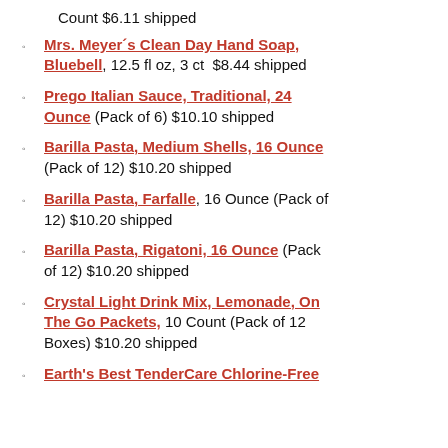Count $6.11 shipped
Mrs. Meyer´s Clean Day Hand Soap, Bluebell, 12.5 fl oz, 3 ct  $8.44 shipped
Prego Italian Sauce, Traditional, 24 Ounce (Pack of 6) $10.10 shipped
Barilla Pasta, Medium Shells, 16 Ounce (Pack of 12) $10.20 shipped
Barilla Pasta, Farfalle, 16 Ounce (Pack of 12) $10.20 shipped
Barilla Pasta, Rigatoni, 16 Ounce (Pack of 12) $10.20 shipped
Crystal Light Drink Mix, Lemonade, On The Go Packets, 10 Count (Pack of 12 Boxes) $10.20 shipped
Earth's Best TenderCare Chlorine-Free